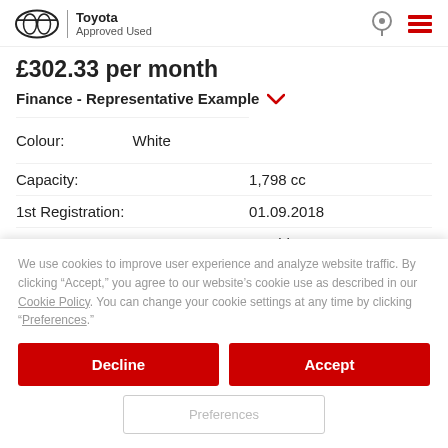Toyota Approved Used
£302.33 per month
Finance - Representative Example
| Label | Value |
| --- | --- |
| Colour: | White |
| Capacity: | 1,798 cc |
| 1st Registration: | 01.09.2018 |
| Power: | 122 bhp |
| Mileage: | 38,714 miles |
We use cookies to improve user experience and analyze website traffic. By clicking “Accept,” you agree to our website’s cookie use as described in our Cookie Policy. You can change your cookie settings at any time by clicking “Preferences.”
Decline
Accept
Preferences